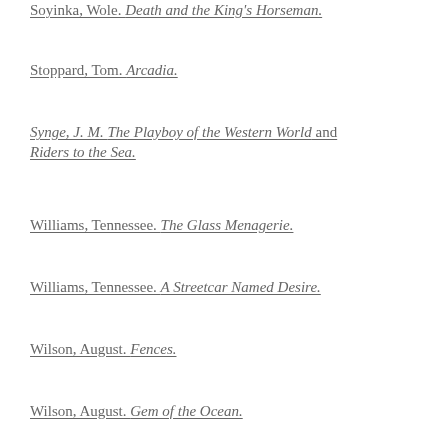Soyinka, Wole. Death and the King's Horseman.
Stoppard, Tom. Arcadia.
Synge, J. M. The Playboy of the Western World and Riders to the Sea.
Williams, Tennessee. The Glass Menagerie.
Williams, Tennessee. A Streetcar Named Desire.
Wilson, August. Fences.
Wilson, August. Gem of the Ocean.